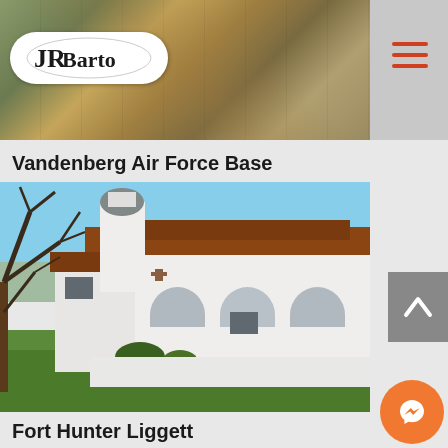[Figure (photo): Aerial view of a construction/landscape site, with JR Barto logo overlay and hamburger menu icon]
Vandenberg Air Force Base
[Figure (photo): Photo of a white mission-style building with arches, red tile roof, dome tower, and tree branches in foreground at Vandenberg Air Force Base]
Fort Hunter Liggett
[Figure (photo): Partial view of another building or location associated with Fort Hunter Liggett (cropped at bottom)]